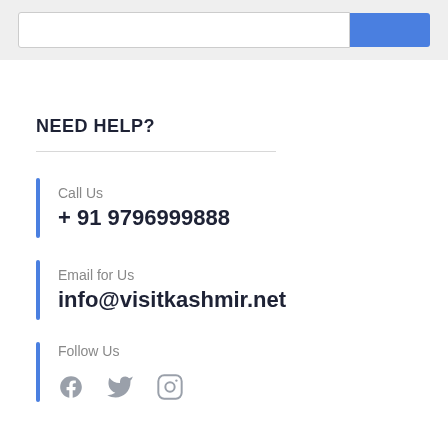[Figure (screenshot): Top search bar with white input field and blue button on grey background]
NEED HELP?
Call Us
+ 91 9796999888
Email for Us
info@visitkashmir.net
Follow Us
[Figure (illustration): Social media icons: Facebook, Twitter, Instagram]